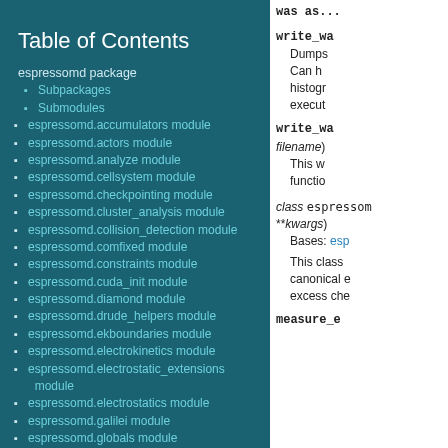Table of Contents
espressomd package
Subpackages
Submodules
espressomd.accumulators module
espressomd.actors module
espressomd.analyze module
espressomd.cellsystem module
espressomd.checkpointing module
espressomd.cluster_analysis module
espressomd.collision_detection module
espressomd.comfixed module
espressomd.constraints module
espressomd.cuda_init module
espressomd.diamond module
espressomd.drude_helpers module
espressomd.ekboundaries module
espressomd.electrokinetics module
espressomd.electrostatic_extensions module
espressomd.electrostatics module
espressomd.galilei module
espressomd.globals module
espressomd.highlander module
espressomd.integrate module
was as...
write_wa...
Dumps... Can h... histogram... execut...
write_wa... filename) This w... functio...
class espressom... **kwargs) Bases: espe... This class canonical e... excess che...
measure_e...